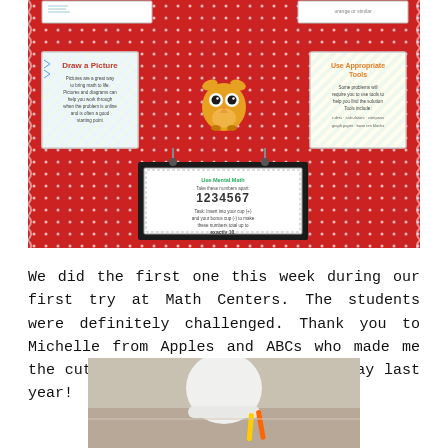[Figure (photo): A classroom bulletin board covered in red polka-dot fabric with scalloped edges. Posted cards include 'Draw a Picture' (left) and 'Use Appropriate Tools' (right), an owl decoration in the center, a hanging card with numbers 1234567 in the center-bottom area, and partial cards along the top edge.]
We did the first one this week during our first try at Math Centers. The students were definitely challenged. Thank you to Michelle from Apples and ABCs who made me the cute Bunting Signs for my birthday last year!
[Figure (photo): A child sitting at a desk working, viewed from above/side, with what appears to be pencils or crayons visible.]